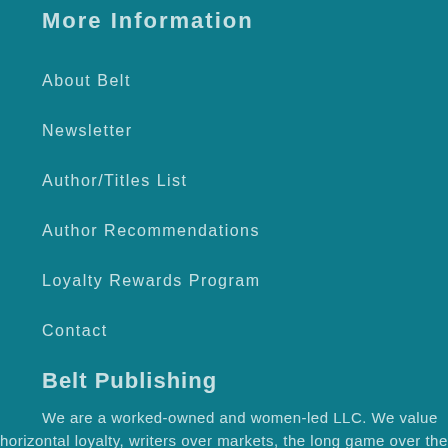More Information
About Belt
Newsletter
Author/Titles List
Author Recommendations
Loyalty Rewards Program
Contact
Belt Publishing
We are a worked-owned and women-led LLC.  We value horizontal loyalty, writers over markets, the long game over the quick hit. We prioritize